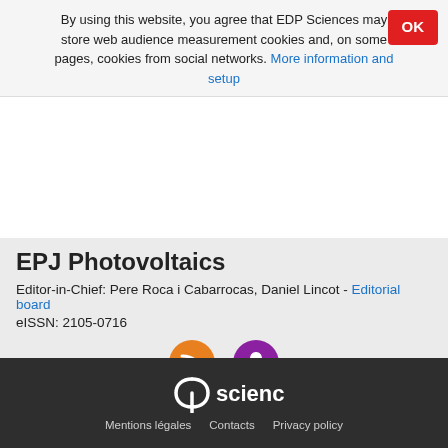By using this website, you agree that EDP Sciences may store web audience measurement cookies and, on some pages, cookies from social networks. More information and setup
EPJ Photovoltaics
Editor-in-Chief: Pere Roca i Cabarrocas, Daniel Lincot - Editorial board
eISSN: 2105-0716
[Figure (illustration): RSS feed icon (orange circle) and notification bell icon (purple circle)]
All issues ▶ Volume 12 (2021) ▶ EPJ Photovolt., 12 (2021) 12 ▶ Abstract
Back to top
[Figure (logo): EDP Sciences logo in white on dark background, with footer links: Mentions légales, Contacts, Privacy policy]